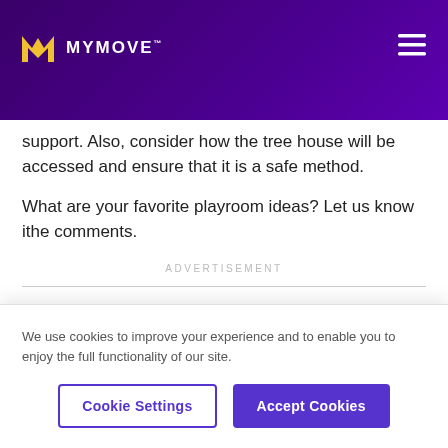MYMOVE™
support. Also, consider how the tree house will be accessed and ensure that it is a safe method.
What are your favorite playroom ideas? Let us know ithe comments.
ADVERTISEMENT
We use cookies to improve your experience and to enable you to enjoy the full functionality of our site.